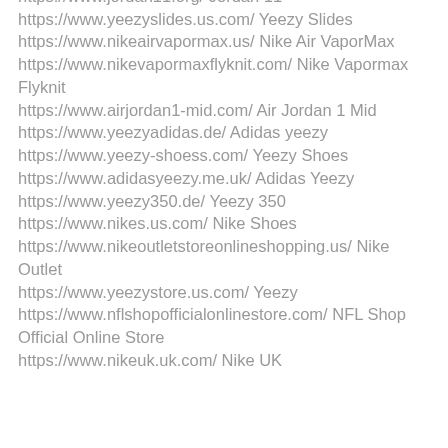https://www.jordan-1.org/ Jordan 1
https://www.jordan11.org/ Jordan 11
https://www.yeezyslides.us.com/ Yeezy Slides
https://www.nikeairvapormax.us/ Nike Air VaporMax
https://www.nikevapormaxflyknit.com/ Nike Vapormax Flyknit
https://www.airjordan1-mid.com/ Air Jordan 1 Mid
https://www.yeezyadidas.de/ Adidas yeezy
https://www.yeezy-shoess.com/ Yeezy Shoes
https://www.adidasyeezy.me.uk/ Adidas Yeezy
https://www.yeezy350.de/ Yeezy 350
https://www.nikes.us.com/ Nike Shoes
https://www.nikeoutletstoreonlineshopping.us/ Nike Outlet
https://www.yeezystore.us.com/ Yeezy
https://www.nflshopofficialonlinestore.com/ NFL Shop Official Online Store
https://www.nikeuk.uk.com/ Nike UK